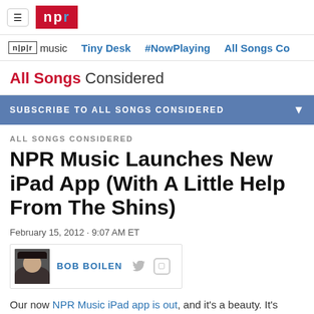NPR logo navigation bar with hamburger menu
npr music | Tiny Desk | #NowPlaying | All Songs Co...
All Songs Considered
SUBSCRIBE TO ALL SONGS CONSIDERED
ALL SONGS CONSIDERED
NPR Music Launches New iPad App (With A Little Help From The Shins)
February 15, 2012 · 9:07 AM ET
BOB BOILEN
Our now NPR Music iPad app is out, and it's a beauty. It's